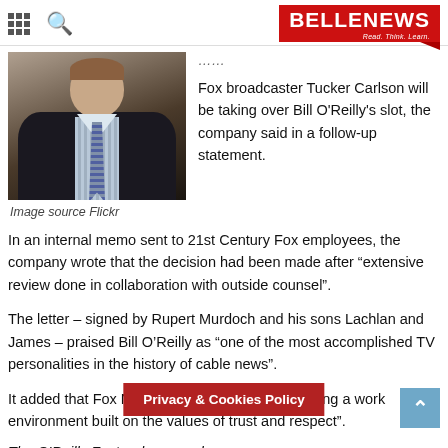BELLENEWS - Read. Think. Learn.
[Figure (photo): Man in dark suit with striped tie, photo of Tucker Carlson]
Image source Flickr
Fox broadcaster Tucker Carlson will be taking over Bill O'Reilly's slot, the company said in a follow-up statement.
In an internal memo sent to 21st Century Fox employees, the company wrote that the decision had been made after “extensive review done in collaboration with outside counsel”.
The letter – signed by Rupert Murdoch and his sons Lachlan and James – praised Bill O’Reilly as “one of the most accomplished TV personalities in the history of cable news”.
It added that Fox News was committed to “fostering a work environment built on the values of trust and respect”.
The O’Reilly Factor drew nearly
Privacy & Cookies Policy